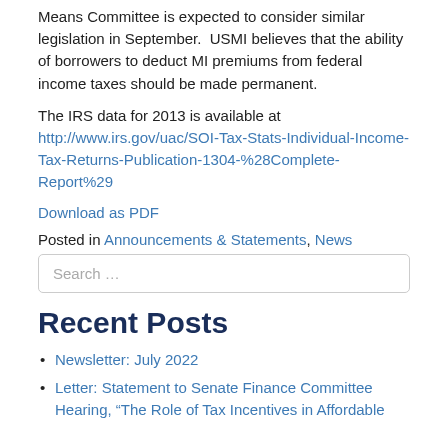Means Committee is expected to consider similar legislation in September.  USMI believes that the ability of borrowers to deduct MI premiums from federal income taxes should be made permanent.
The IRS data for 2013 is available at http://www.irs.gov/uac/SOI-Tax-Stats-Individual-Income-Tax-Returns-Publication-1304-%28Complete-Report%29
Download as PDF
Posted in Announcements & Statements, News
Search …
Recent Posts
Newsletter: July 2022
Letter: Statement to Senate Finance Committee Hearing, "The Role of Tax Incentives in Affordable